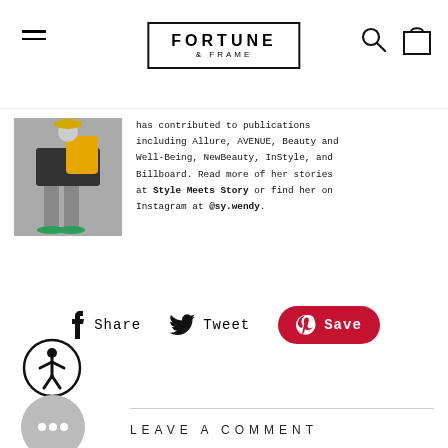FORTUNE & FRAME
[Figure (photo): Person wearing a yellow backpack, black shorts, and green heels, standing on stone steps]
has contributed to publications including Allure, AVENUE, Beauty and Well-Being, NewBea uty, InStyle, and Billboard. Read more of her stories at Style Meets Story or find her on Instagram at @sy.wendy.
Share  Tweet  Save
[Figure (other): Accessibility icon — person in circle]
[Figure (other): Chat bubble icon with ellipsis]
LEAVE A COMMENT